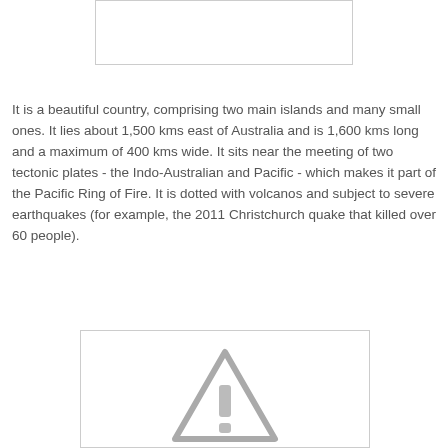[Figure (photo): Top image placeholder box, white rectangle with border]
It is a beautiful country, comprising two main islands and many small ones.  It lies about 1,500 kms east of Australia and is 1,600 kms long and a maximum of 400 kms wide.  It sits near the meeting of two tectonic plates - the Indo-Australian and Pacific - which makes it part of the Pacific Ring of Fire.  It is dotted with volcanos and subject to severe earthquakes (for example, the 2011 Christchurch quake that killed over 60 people).
[Figure (illustration): Bottom image box showing a grey warning/hazard diamond or triangle sign icon, partially visible]